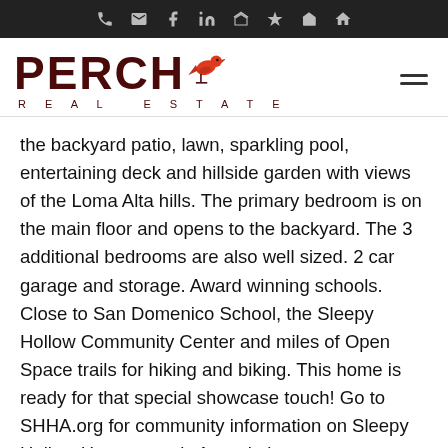PERCH REAL ESTATE
the backyard patio, lawn, sparkling pool, entertaining deck and hillside garden with views of the Loma Alta hills. The primary bedroom is on the main floor and opens to the backyard. The 3 additional bedrooms are also well sized. 2 car garage and storage. Award winning schools. Close to San Domenico School, the Sleepy Hollow Community Center and miles of Open Space trails for hiking and biking. This home is ready for that special showcase touch! Go to SHHA.org for community information on Sleepy Hollow Homeowner's Association.